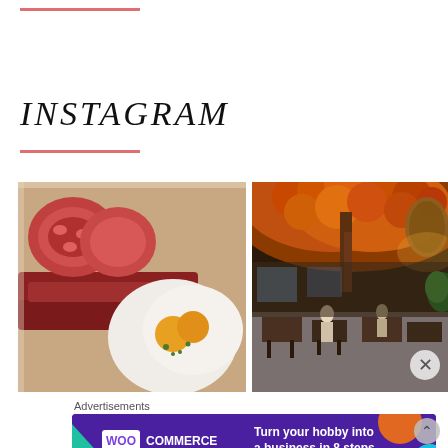INSTAGRAM
[Figure (photo): Close-up photo of a full English breakfast with fried eggs, bacon rashers, and grilled tomatoes in a white tray]
[Figure (photo): Interior of a restaurant with orange autumn-leaf canopy tree decoration, warm lighting, pendant wicker lamps, and diners seated at tables]
Advertisements
[Figure (screenshot): WooCommerce advertisement banner with purple background reading 'Turn your hobby into a business in 8 steps' with teal, orange and cyan decorative shapes]